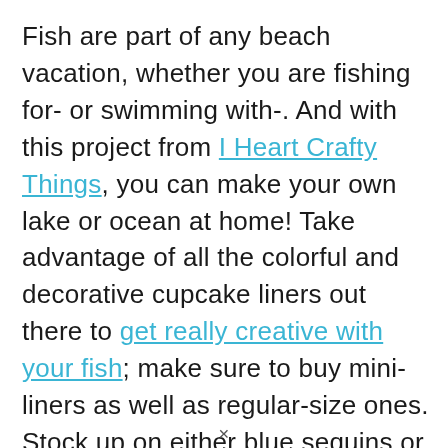Fish are part of any beach vacation, whether you are fishing for- or swimming with-. And with this project from I Heart Crafty Things, you can make your own lake or ocean at home! Take advantage of all the colorful and decorative cupcake liners out there to get really creative with your fish; make sure to buy mini-liners as well as regular-size ones. Stock up on either blue sequins or white hole punch stickers to make the bubbles; the blog has affiliate links to help you purchase them online. And don't forget those wavy lines to ...